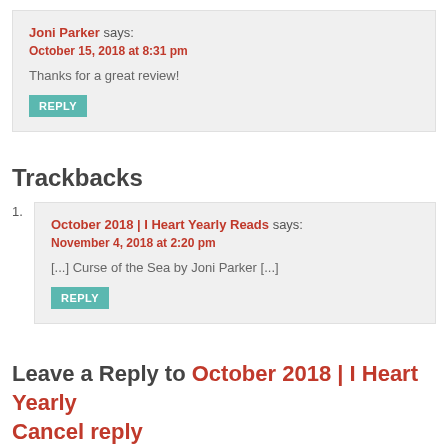Joni Parker says:
October 15, 2018 at 8:31 pm
Thanks for a great review!
REPLY
Trackbacks
October 2018 | I Heart Yearly Reads says:
November 4, 2018 at 2:20 pm
[...] Curse of the Sea by Joni Parker [...]
REPLY
Leave a Reply to October 2018 | I Heart Yearly Cancel reply